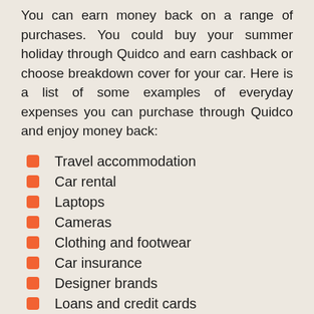You can earn money back on a range of purchases. You could buy your summer holiday through Quidco and earn cashback or choose breakdown cover for your car. Here is a list of some examples of everyday expenses you can purchase through Quidco and enjoy money back:
Travel accommodation
Car rental
Laptops
Cameras
Clothing and footwear
Car insurance
Designer brands
Loans and credit cards
Flights